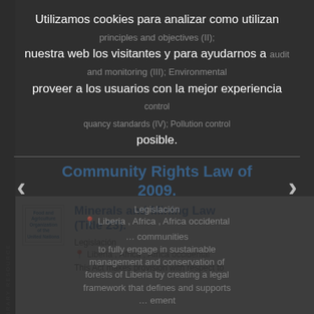Utilizamos cookies para analizar como utilizan nuestra web los visitantes y para ayudarnos a proveer a los usuarios con la mejor experiencia posible.
Haga clic en Aceptar abajo si está de acuerdo en permitir cookies del Land Portal | Asegurando los Derechos a la Tierra a través de Datos Abiertos. Sino, haga clic en Rechazar.
[Figure (screenshot): Cookie consent modal overlay with Aceptar and Rechazar buttons over a darkened background showing a library resource card]
Minerals and Mining Law (Title 23).
Legislación
Liberia , África , África occidental
This Act makes provision with respect to